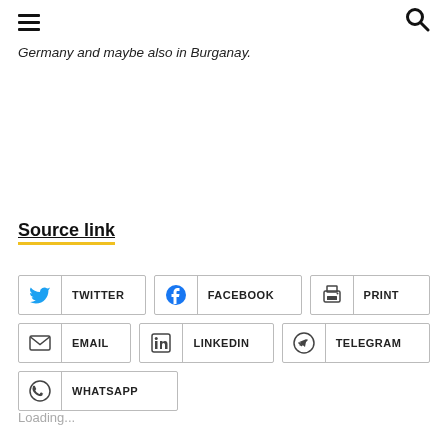[hamburger menu] [search icon]
Germany and maybe also in Burganay.
Source link
TWITTER | FACEBOOK | PRINT | EMAIL | LINKEDIN | TELEGRAM | WHATSAPP
Loading...